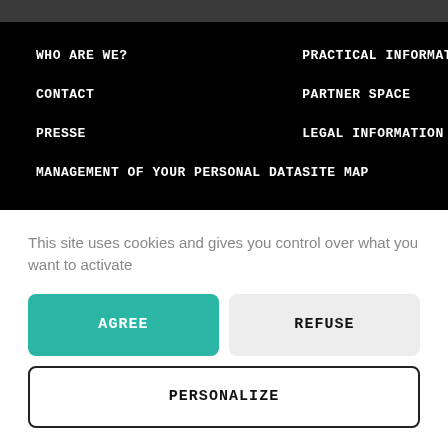WHO ARE WE?
PRACTICAL INFORMATION
CONTACT
PARTNER SPACE
PRESSE
LEGAL INFORMATION
MANAGEMENT OF YOUR PERSONAL DATA
SITE MAP
This site uses cookies and gives you control over what you want to activate
AGREE
REFUSE
PERSONALIZE